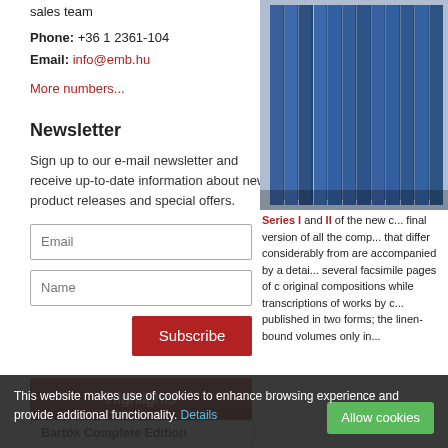sales team
Phone: +36 1 2361-104
Email: info@emb.hu
More numbers...
Newsletter
Sign up to our e-mail newsletter and receive up-to-date information about new product releases and special offers.
[Figure (photo): Stack of blue hardcover books]
Series I and II of the new c... final version of all the comp... that differ considerably from... are accompanied by a detai... several facsimile pages of original compositions while transcriptions of works by c... published in two forms; the linen-bound volumes only in...
Highlights
Bartók Complete Edition
Liszt Complete Edition
Chamber music
This website makes use of cookies to enhance browsing experience and provide additional functionality. Details
Allow cookies